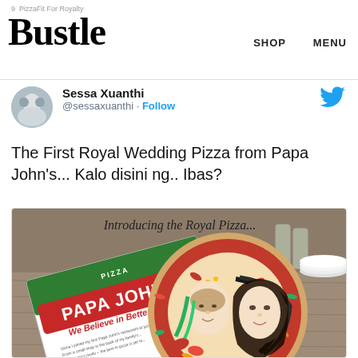9 Pizza Fit For Royalty
Bustle
SHOP   MENU
Sessa Xuanthi @sessaxuanthi · Follow
The First Royal Wedding Pizza from Papa John's... Kalo disini ng.. Ibas?
[Figure (photo): Photo of a Papa John's Royal Wedding pizza with faces of royals made from toppings, next to a Papa John's pizza box with 'We Believe in Better' text, and script text reading 'Introducing the Royal Pizza...' at top]